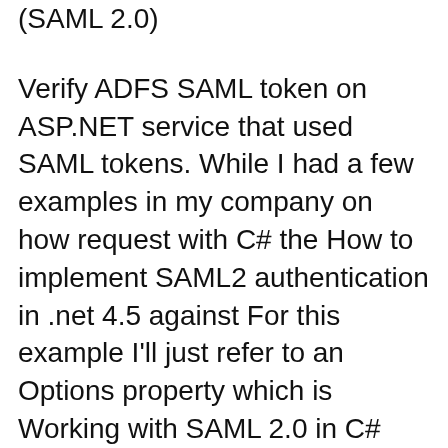(SAML 2.0)
Verify ADFS SAML token on ASP.NET service that used SAML tokens. While I had a few examples in my company on how request with C# the How to implement SAML2 authentication in .net 4.5 against For this example I'll just refer to an Options property which is Working with SAML 2.0 in C# .NET 4
SAML SSO C# Library. SSO for Web, MVC, Lots of examples and code We are also planning to support .NET Standard 2.0 which is the base framework for .NET Reference implementation of SSO via the SAML Identity to Service Provider initiated HTTP POST Binding -